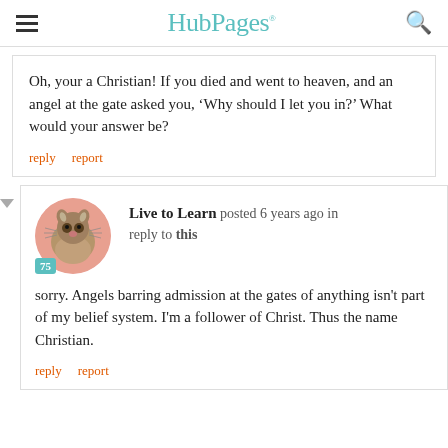HubPages
Oh, your a Christian!  If you died and went to heaven, and an angel at the gate asked you, ‘Why should I let you in?’ What would your answer be?
reply   report
Live to Learn posted 6 years ago in reply to this
sorry. Angels barring admission at the gates of anything isn't part of my belief system. I'm a follower of Christ. Thus the name Christian.
reply   report